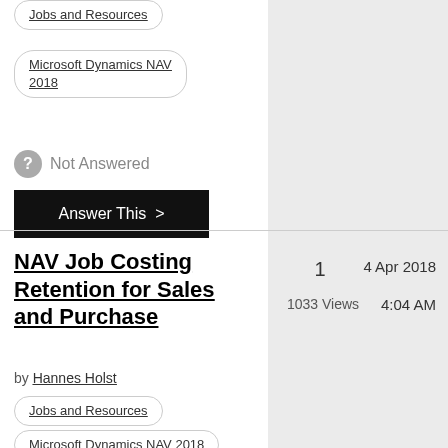Jobs and Resources
Microsoft Dynamics NAV 2018
Not Answered
Answer This >
NAV Job Costing Retention for Sales and Purchase
by Hannes Holst
Jobs and Resources
Microsoft Dynamics NAV 2018
1
1033 Views
4 Apr 2018
4:04 AM